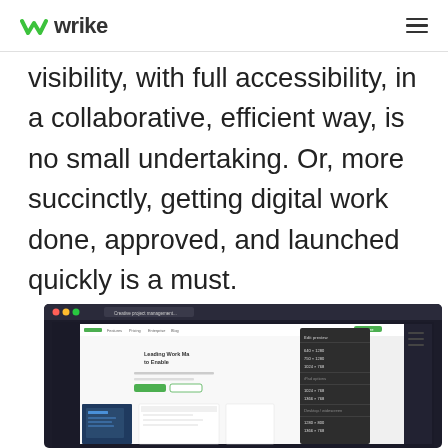Wrike
visibility, with full accessibility, in a collaborative, efficient way, is no small undertaking. Or, more succinctly, getting digital work done, approved, and launched quickly is a must.
[Figure (screenshot): Screenshot of a web browser showing the Wrike creative project management software website with a dropdown menu of screen resolution options overlaid on the page content.]